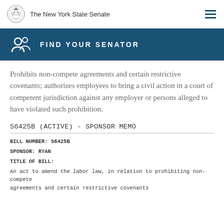The New York State Senate
FIND YOUR SENATOR
Prohibits non-compete agreements and certain restrictive covenants; authorizes employees to bring a civil action in a court of competent jurisdiction against any employer or persons alleged to have violated such prohibition.
S6425B (ACTIVE) - SPONSOR MEMO
BILL NUMBER: S6425B
SPONSOR: RYAN
TITLE OF BILL:
An act to amend the labor law, in relation to prohibiting non-compete agreements and certain restrictive covenants